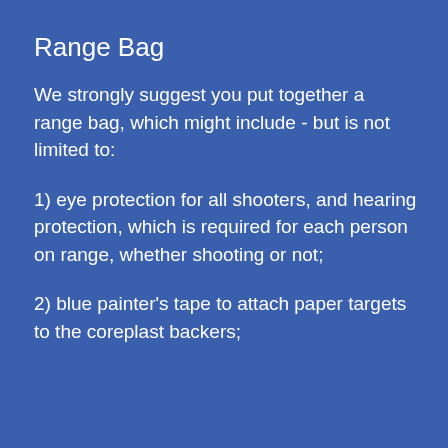Range Bag
We strongly suggest you put together a range bag, which might include - but is not limited to:
1) eye protection for all shooters, and hearing protection, which is required for each person on range, whether shooting or not;
2) blue painter's tape to attach paper targets to the coreplast backers;